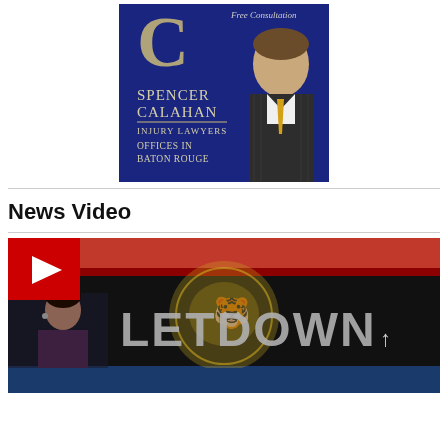[Figure (advertisement): Spencer Calahan Injury Lawyers advertisement with navy blue background, gold crescent C logo, photo of smiling man in pinstripe suit with gold tie, text: Free Consultation, Spencer Calahan Injury Lawyers, Offices in Baton Rouge]
News Video
[Figure (screenshot): News video thumbnail showing a news anchor woman on left, tiger logo graphic, large text LETDOWN on screen, red play button in top left corner]